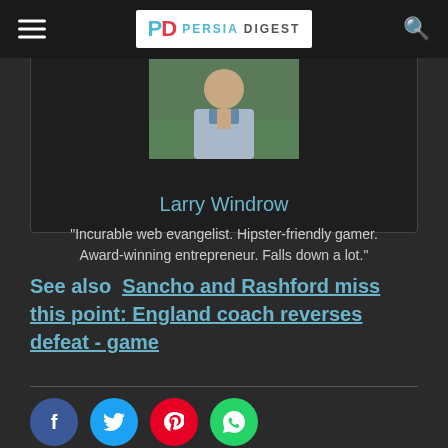Persia Digest
[Figure (photo): Author photo of Larry Windrow - a man in a light blue sweater outdoors]
Larry Windrow
“Incurable web evangelist. Hipster-friendly gamer. Award-winning entrepreneur. Falls down a lot.”
See also  Sancho and Rashford miss this point: England coach reverses defeat - game